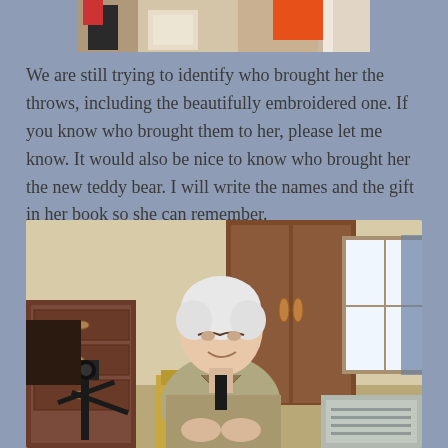[Figure (photo): Partial photo at top showing people with colorful items including what appears to be a red/orange throw blanket]
We are still trying to identify who brought her the throws, including the beautifully embroidered one. If you know who brought them to her, please let me know. It would also be nice to know who brought her the new teddy bear. I will write the names and the gift in her book so she can remember.
[Figure (photo): An elderly woman with white hair sitting in a chair in what appears to be a care facility room, smiling and looking down, with wooden furniture and a window in the background]